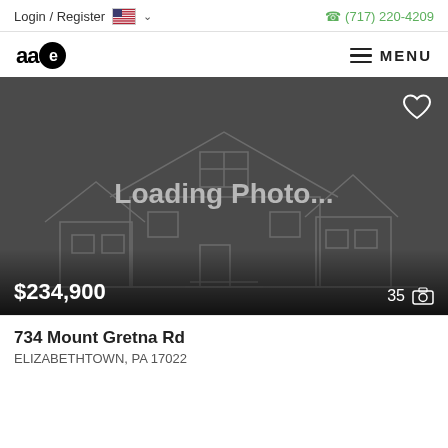Login / Register  (717) 220-4209
[Figure (logo): aa re logo with circular e]
[Figure (photo): Loading Photo... placeholder image of a house outline on dark background, showing price $234,900 and 35 photos]
734 Mount Gretna Rd
ELIZABETHTOWN, PA 17022